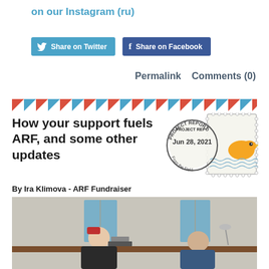on our Instagram (ru)
[Figure (other): Share on Twitter and Share on Facebook social media buttons]
Permalink    Comments (0)
[Figure (other): Airmail diagonal stripe border decoration in red and blue]
How your support fuels ARF, and some other updates
[Figure (other): Project Report stamp dated Jun 28, 2021 From the Field with bird illustration]
By Ira Klimova - ARF Fundraiser
[Figure (photo): Two people sitting at a desk in an office, working, with windows in the background]